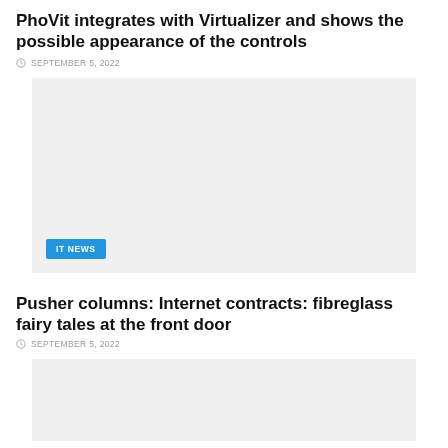PhoVit integrates with Virtualizer and shows the possible appearance of the controls
SEPTEMBER 5, 2022
[Figure (photo): Gray placeholder image with IT NEWS badge]
Pusher columns: Internet contracts: fibreglass fairy tales at the front door
SEPTEMBER 5, 2022
[Figure (photo): Gray placeholder image at bottom]